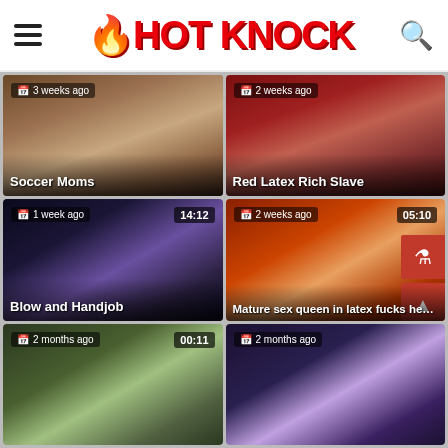HOT KNOCK
[Figure (screenshot): Video thumbnail: Soccer Moms, 3 weeks ago]
[Figure (screenshot): Video thumbnail: Red Latex Rich Slave, 2 weeks ago]
[Figure (screenshot): Video thumbnail: Blow and Handjob, 1 week ago, 14:12]
[Figure (screenshot): Video thumbnail: Mature sex queen in latex fucks hersel..., 2 weeks ago, 05:10]
[Figure (screenshot): Video thumbnail: 2 months ago, 00:11]
[Figure (screenshot): Video thumbnail: 2 months ago]